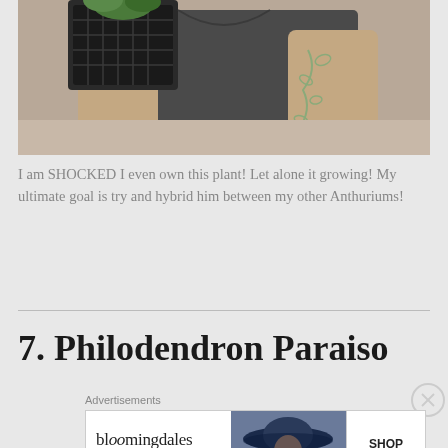[Figure (photo): Person in dark gray t-shirt holding a dark basket/pot with a green plant. The person has a floral tattoo on their forearm/wrist area.]
I am SHOCKED I even own this plant! Let alone it growing! My ultimate goal is try and hybrid him between my other Anthuriums!
7. Philodendron Paraiso
Advertisements
[Figure (other): Bloomingdale's advertisement banner. Text reads: bloomingdales / View Today's Top Deals! with an image of a woman in a wide-brim hat and a SHOP NOW > button.]